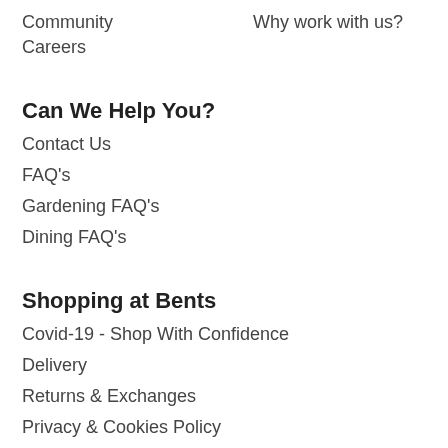Community
Why work with us?
Careers
Can We Help You?
Contact Us
FAQ's
Gardening FAQ's
Dining FAQ's
Shopping at Bents
Covid-19 - Shop With Confidence
Delivery
Returns & Exchanges
Privacy & Cookies Policy